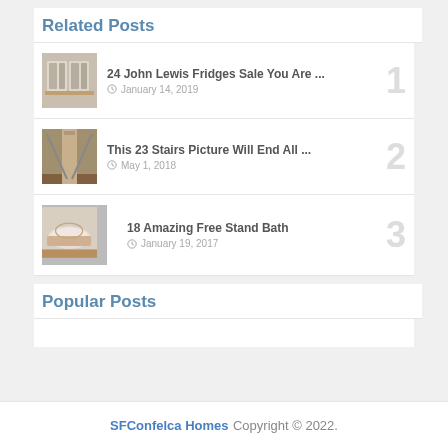Related Posts
24 John Lewis Fridges Sale You Are ... | January 14, 2019 | #1
This 23 Stairs Picture Will End All ... | May 1, 2018 | #2
18 Amazing Free Stand Bath | January 19, 2017 | #3
Popular Posts
SFConfelca Homes Copyright © 2022.